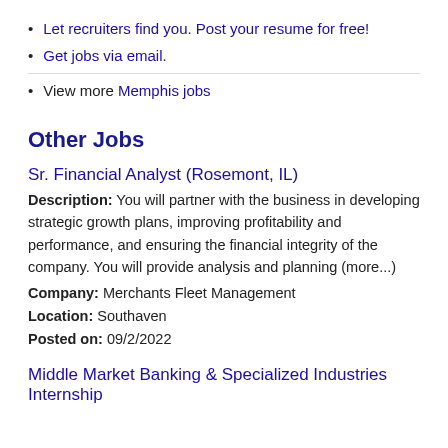Let recruiters find you. Post your resume for free!
Get jobs via email.
View more Memphis jobs
Other Jobs
Sr. Financial Analyst (Rosemont, IL)
Description: You will partner with the business in developing strategic growth plans, improving profitability and performance, and ensuring the financial integrity of the company. You will provide analysis and planning (more...)
Company: Merchants Fleet Management
Location: Southaven
Posted on: 09/2/2022
Middle Market Banking & Specialized Industries Internship